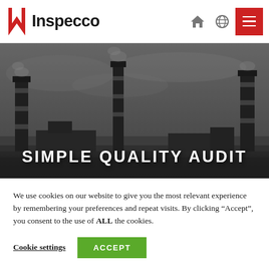[Figure (logo): Inspecco company logo with red stylized N arrow and bold Inspecco text]
[Figure (photo): Dark grayscale industrial photo showing factory smokestacks/chimneys against an overcast sky]
SIMPLE QUALITY AUDIT
We use cookies on our website to give you the most relevant experience by remembering your preferences and repeat visits. By clicking “Accept”, you consent to the use of ALL the cookies.
Cookie settings | ACCEPT